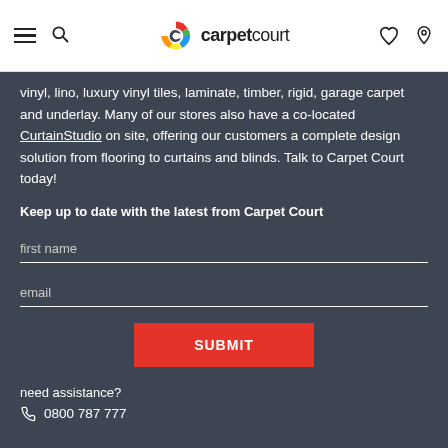carpetcourt navigation bar with hamburger menu, search, logo, heart icon, location icon
vinyl, lino, luxury vinyl tiles, laminate, timber, rigid, garage carpet and underlay. Many of our stores also have a co-located CurtainStudio on site, offering our customers a complete design solution from flooring to curtains and blinds. Talk to Carpet Court today!
Keep up to date with the latest from Carpet Court
first name (form field)
email (form field)
SUBMIT
need assistance?
0800 787 777